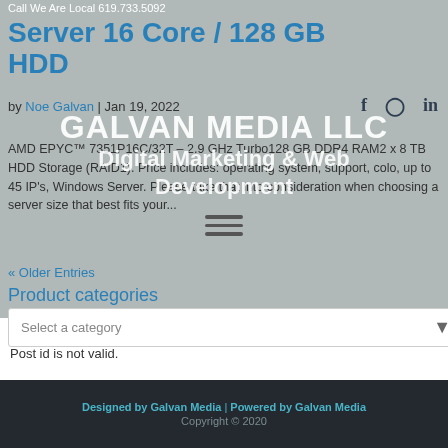Server 16 Core / 128 GB HDD
Call We Are Local 619.733.5092
by Noe Galvan | Jan 19, 2022
[Figure (logo): Galvan Media LLC watermark overlay with text 'GALVAN MEDIA LLC' and 'Digital Marketing & Web Development' and hamburger menu icon]
AMD EPYC™ 7351P16C/32T – 2.9 GHz Turbo128 GB DDR4 RAM2 x 8 TB HDD Storage (RAID1). Price includes: operating system, support, colo, up to 45 IP's, Windows Server. Please take that into consideration when choosing a server size that best fits your...
« Older Entries
Product categories
Select a category
Post id is not valid.
Designed by Galvan Media | Powered by Galvan Media
Copyright © 2020